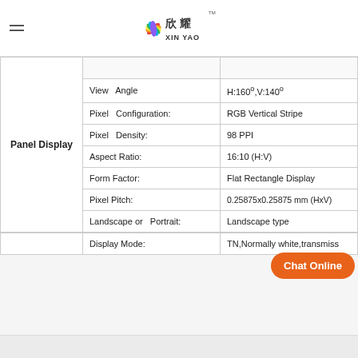[Figure (logo): XIN YAO company logo with colorful leaf/flower design and Chinese characters]
| Category | Parameter | Value |
| --- | --- | --- |
| Panel Display | View Angle | H:160°,V:140° |
| Panel Display | Pixel Configuration: | RGB Vertical Stripe |
| Panel Display | Pixel Density: | 98 PPI |
| Panel Display | Aspect Ratio: | 16:10 (H:V) |
| Panel Display | Form Factor: | Flat Rectangle Display |
| Panel Display | Pixel Pitch: | 0.25875x0.25875 mm (HxV) |
| Panel Display | Landscape or Portrait: | Landscape type |
| Panel Display | Display Mode: | TN,Normally white,transmiss |